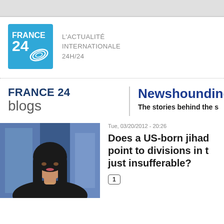[Figure (logo): France 24 blue logo square with white text and swirl graphic]
L'ACTUALITÉ INTERNATIONALE 24H/24
FRANCE 24 blogs
Newshounding th
The stories behind the s
[Figure (photo): Woman with dark long hair in a news studio setting]
Tue, 03/20/2012 - 20:26
Does a US-born jihad point to divisions in t just insufferable?
1